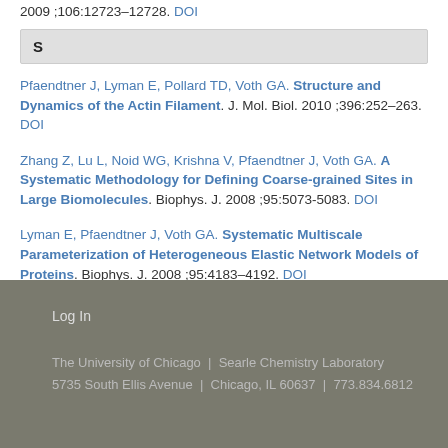2009 ;106:12723–12728. DOI
S
Pfaendtner J, Lyman E, Pollard TD, Voth GA. Structure and Dynamics of the Actin Filament. J. Mol. Biol. 2010 ;396:252–263. DOI
Zhang Z, Lu L, Noid WG, Krishna V, Pfaendtner J, Voth GA. A Systematic Methodology for Defining Coarse-grained Sites in Large Biomolecules. Biophys. J. 2008 ;95:5073-5083. DOI
Lyman E, Pfaendtner J, Voth GA. Systematic Multiscale Parameterization of Heterogeneous Elastic Network Models of Proteins. Biophys. J. 2008 ;95:4183–4192. DOI
Log In
The University of Chicago | Searle Chemistry Laboratory
5735 South Ellis Avenue | Chicago, IL 60637 | 773.834.6812